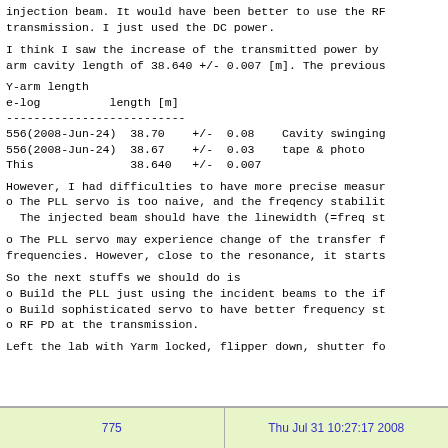injection beam. It would have been better to use the RF transmission. I just used the DC power.
I think I saw the increase of the transmitted power by arm cavity length of 38.640 +/- 0.007 [m]. The previous
Y-arm length
e-log         length [m]
--------------------------
556(2008-Jun-24)  38.70    +/-  0.08    Cavity swinging
556(2008-Jun-24)  38.67    +/-  0.03    tape & photo
This              38.640   +/-  0.007
However, I had difficulties to have more precise measur o The PLL servo is too naive, and the freqency stabilit   The injected beam should have the linewidth (=freq st
o The PLL servo may experience change of the transfer f frequencies. However, close to the resonance, it starts
So the next stuffs we should do is
o Build the PLL just using the incident beams to the if
o Build sophisticated servo to have better frequency st
o RF PD at the transmission.
Left the lab with Yarm locked, flipper down, shutter fo
775    Thu Jul 31 10:27:17 2008